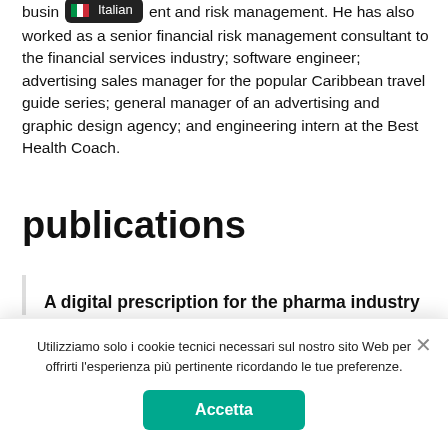busin[Italian badge]ent and risk management. He has also worked as a senior financial risk management consultant to the financial services industry; software engineer; advertising sales manager for the popular Caribbean travel guide series; general manager of an advertising and graphic design agency; and engineering intern at the Best Health Coach.
publications
A digital prescription for the pharma industry
Utilizziamo solo i cookie tecnici necessari sul nostro sito Web per offrirti l'esperienza più pertinente ricordando le tue preferenze.